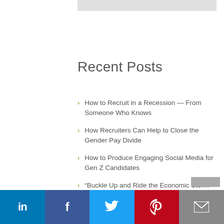Recent Posts
How to Recruit in a Recession — From Someone Who Knows
How Recruiters Can Help to Close the Gender Pay Divide
How to Produce Engaging Social Media for Gen Z Candidates
“Buckle Up and Ride the Economic Storm” Says Veteran Recruiter
How Supporting Diversity Gives Your Business a Head Start